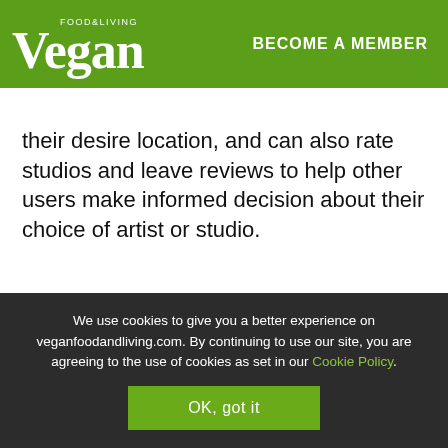FOOD&LIVING Vegan | BECOME A MEMBER
their desire location, and can also rate studios and leave reviews to help other users make informed decision about their choice of artist or studio.
We use cookies to give you a better experience on veganfoodandliving.com. By continuing to use our site, you are agreeing to the use of cookies as set in our Cookie Policy. OK, got it